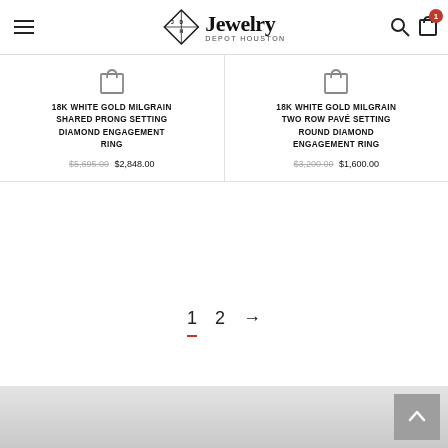[Figure (logo): Jewelry Depot Houston logo with diamond icon and stylized text]
18K WHITE GOLD MILGRAIN SHARED PRONG SETTING DIAMOND ENGAGEMENT RING
$5,695.00 $2,848.00
18K WHITE GOLD MILGRAIN TWO ROW PAVÉ SETTING ROUND DIAMOND ENGAGEMENT RING
$3,200.00 $1,600.00
1  2  →